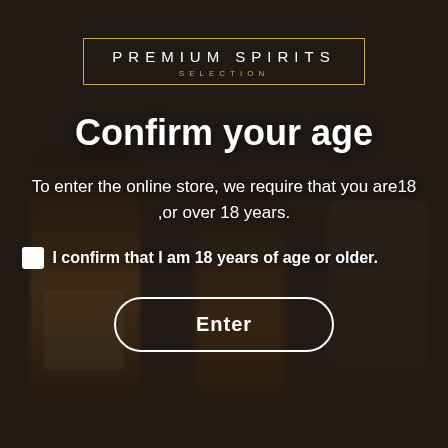[Figure (photo): Dark background with blurred bottles of premium spirits (1858 label visible) and glasses, moody bar setting]
PREMIUM SPIRITS SELECTION
Confirm your age
To enter the online store, we require that you are18 ,or over 18 years.
I confirm that I am 18 years of age or older.
Enter